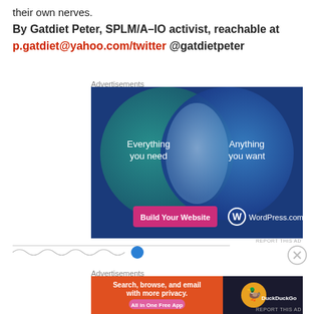their own nerves.
By Gatdiet Peter, SPLM/A–IO activist, reachable at p.gatdiet@yahoo.com/twitter @gatdietpeter
Advertisements
[Figure (illustration): WordPress.com advertisement showing a Venn diagram with two overlapping circles on a dark blue background. Left circle (teal/green) reads 'Everything you need', right circle (blue) reads 'Anything you want'. Overlap area is lighter blue. Bottom left has a pink/magenta button 'Build Your Website'. Bottom right shows WordPress.com logo and text.]
Advertisements
[Figure (illustration): DuckDuckGo advertisement. Orange/red background on left with white text 'Search, browse, and email with more privacy. All in One Free App' and a pink button. Right side dark with DuckDuckGo duck logo and text DuckDuckGo.]